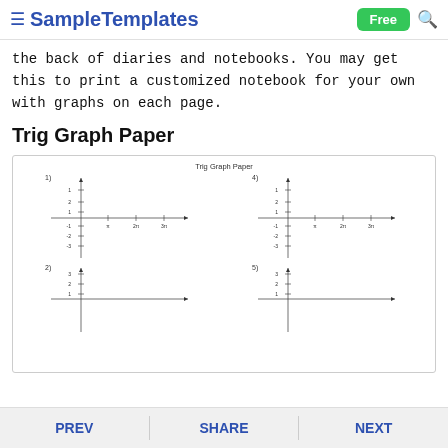≡ SampleTemplates  Free 🔍
the back of diaries and notebooks. You may get this to print a customized notebook for your own with graphs on each page.
Trig Graph Paper
[Figure (other): Preview of a Trig Graph Paper template showing four coordinate plane graphs labeled 1) through 5), each with x and y axes with tick marks. Title reads 'Trig Graph Paper'.]
PREV  SHARE  NEXT